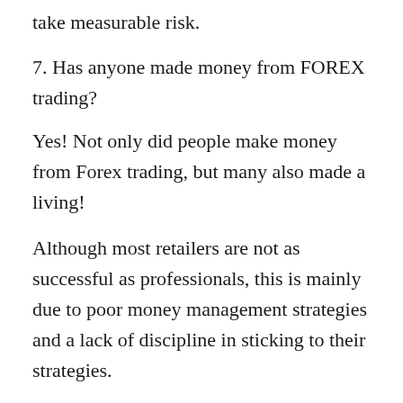take measurable risk.
7. Has anyone made money from FOREX trading?
Yes! Not only did people make money from Forex trading, but many also made a living!
Although most retailers are not as successful as professionals, this is mainly due to poor money management strategies and a lack of discipline in sticking to their strategies.